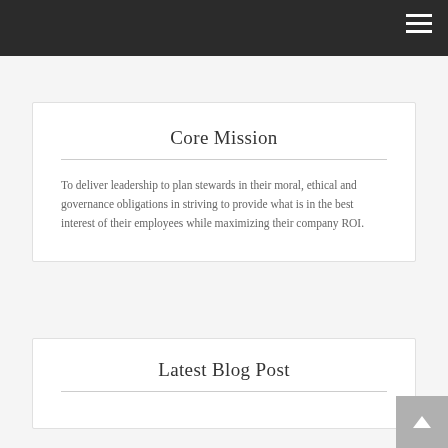Core Mission
To deliver leadership to plan stewards in their moral, ethical and governance obligations in striving to provide what is in the best interest of their employees while maximizing their company ROI.
Latest Blog Post